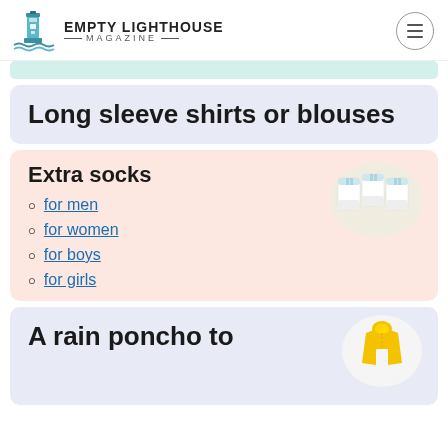EMPTY LIGHTHOUSE MAGAZINE
Long sleeve shirts or blouses
Extra socks
for men
for women
for boys
for girls
[Figure (photo): Stack of white ankle socks]
A rain poncho to
[Figure (photo): Yellow rain poncho/jacket]